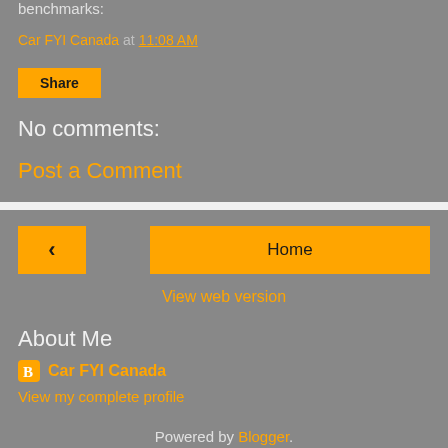benchmarks:
Car FYI Canada at 11:08 AM
Share
No comments:
Post a Comment
Home
View web version
About Me
Car FYI Canada
View my complete profile
Powered by Blogger.